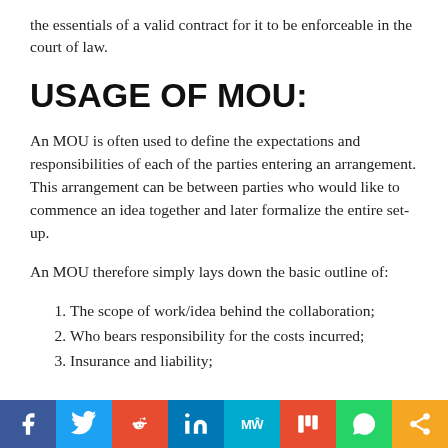the essentials of a valid contract for it to be enforceable in the court of law.
USAGE OF MOU:
An MOU is often used to define the expectations and responsibilities of each of the parties entering an arrangement. This arrangement can be between parties who would like to commence an idea together and later formalize the entire set-up.
An MOU therefore simply lays down the basic outline of:
1. The scope of work/idea behind the collaboration;
2. Who bears responsibility for the costs incurred;
3. Insurance and liability;
[Figure (infographic): Social media sharing bar with buttons for Facebook, Twitter, Reddit, LinkedIn, MeWe, Mix, WhatsApp, and Share]